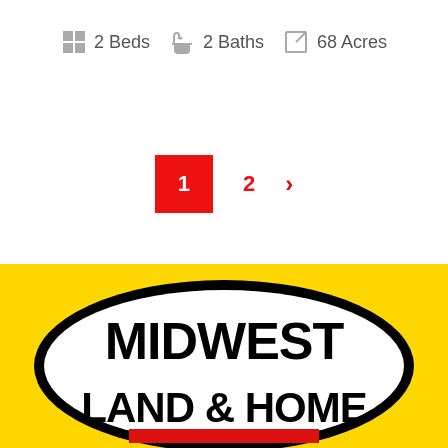2 Beds  2 Baths  68 Acres
1  2  ›
[Figure (logo): Midwest Land & Home logo: yellow background with black oval border containing white interior with bold black text 'MIDWEST LAND & HOME' and red accent at bottom]